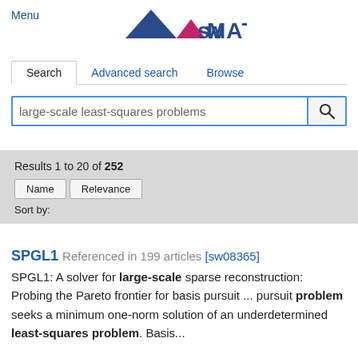Menu
[Figure (logo): swMATH logo with blue and pink triangles and text swMATH]
Search | Advanced search | Browse
large-scale least-squares problems [search input]
Results 1 to 20 of 252
Name  Relevance
Sort by:
SPGL1  Referenced in 199 articles [sw08365]
SPGL1: A solver for large-scale sparse reconstruction: Probing the Pareto frontier for basis pursuit ... pursuit problem seeks a minimum one-norm solution of an underdetermined least-squares problem. Basis...